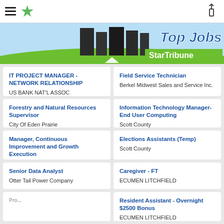StarTribune Top Jobs
[Figure (illustration): StarTribune Top Jobs banner with green grass, buildings, and StarTribune logo]
IT PROJECT MANAGER - NETWORK RELATIONSHIP
US BANK NAT'L ASSOC
Field Service Technician
Berkel Midwest Sales and Service Inc.
Forestry and Natural Resources Supervisor
City Of Eden Prairie
Information Technology Manager- End User Computing
Scott County
Manager, Continuous Improvement and Growth Execution
Otter Tail Power Company
Elections Assistants (Temp)
Scott County
Senior Data Analyst
Otter Tail Power Company
Caregiver - FT
ECUMEN LITCHFIELD
Resident Assistant - Overnight $2500 Bonus
ECUMEN LITCHFIELD